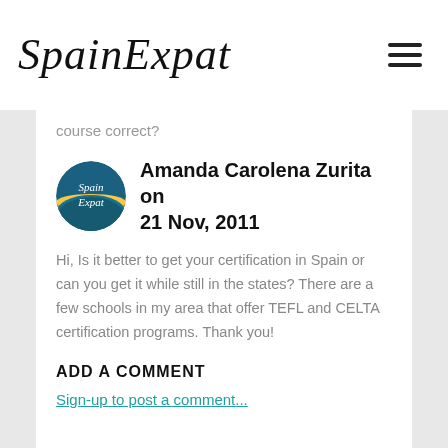SpainExpat
course correct?
Amanda Carolena Zurita on 21 Nov, 2011
Hi, Is it better to get your certification in Spain or can you get it while still in the states? There are a few schools in my area that offer TEFL and CELTA certification programs. Thank you!
ADD A COMMENT
Sign-up to post a comment...